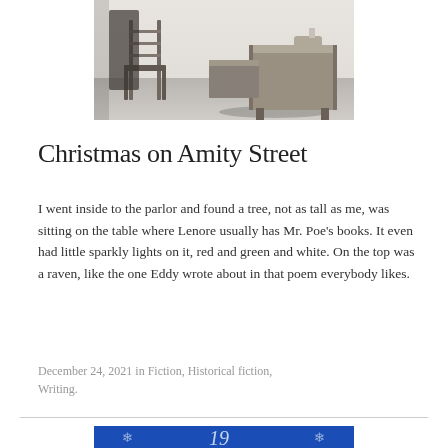[Figure (photo): Black and white photograph of a room interior with furniture including what appears to be wooden boxes or crates, a ladder-back chair on the left, and some objects on a flat surface.]
Christmas on Amity Street
I went inside to the parlor and found a tree, not as tall as me, was sitting on the table where Lenore usually has Mr. Poe’s books. It even had little sparkly lights on it, red and green and white. On the top was a raven, like the one Eddy wrote about in that poem everybody likes.
December 24, 2021 in Fiction, Historical fiction, Writing.
[Figure (illustration): Blue decorative image with white snowflake designs and what appears to be a stylized number, possibly part of an advent calendar or holiday graphic.]